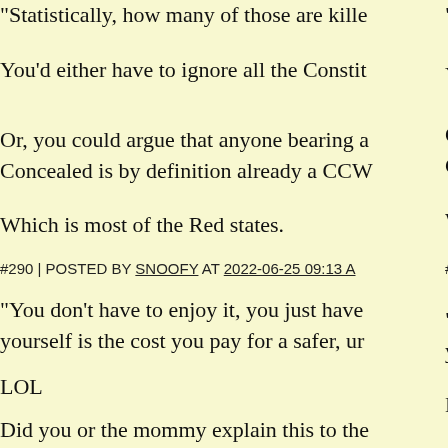"Statistically, how many of those are kille
You'd either have to ignore all the Constit
Or, you could argue that anyone bearing a Concealed is by definition already a CCW
Which is most of the Red states.
#290 | POSTED BY SNOOFY AT 2022-06-25 09:13 A
"You don't have to enjoy it, you just have yourself is the cost you pay for a safer, ur
LOL
Did you or the mommy explain this to the
Neither, because it's nonsense.
#291 | POSTED BY SNOOFY AT 2022-06-25 09:15 A
"Ukraine wanted to be part of NATO beca of guns available."
Nope.